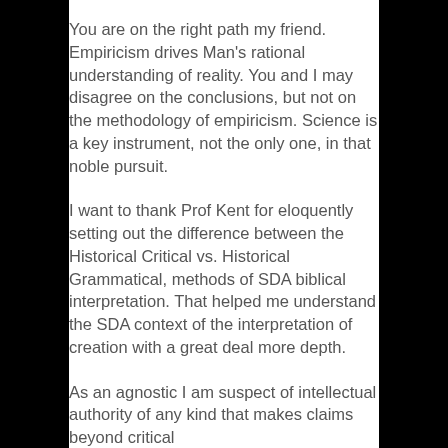You are on the right path my friend. Empiricism drives Man's rational understanding of reality. You and I may disagree on the conclusions, but not on the methodology of empiricism. Science is a key instrument, not the only one, in that noble pursuit.
I want to thank Prof Kent for eloquently setting out the difference between the Historical Critical vs. Historical Grammatical, methods of SDA biblical interpretation. That helped me understand the SDA context of the interpretation of creation with a great deal more depth.
As an agnostic I am suspect of intellectual authority of any kind that makes claims beyond critical...